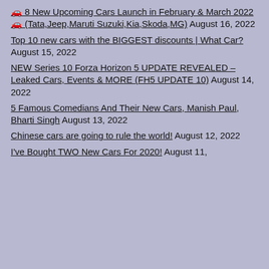🚗 8 New Upcoming Cars Launch in February & March 2022 🚗 (Tata,Jeep,Maruti Suzuki,Kia,Skoda,MG) August 16, 2022
Top 10 new cars with the BIGGEST discounts | What Car? August 15, 2022
NEW Series 10 Forza Horizon 5 UPDATE REVEALED – Leaked Cars, Events & MORE (FH5 UPDATE 10) August 14, 2022
5 Famous Comedians And Their New Cars, Manish Paul, Bharti Singh August 13, 2022
Chinese cars are going to rule the world! August 12, 2022
I've Bought TWO New Cars For 2020! August 11, 2022